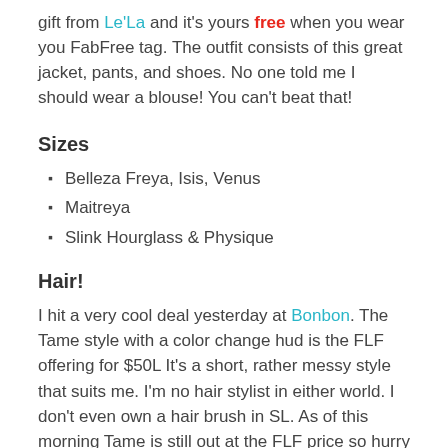gift from Le'La and it's yours free when you wear you FabFree tag. The outfit consists of this great jacket, pants, and shoes. No one told me I should wear a blouse! You can't beat that!
Sizes
Belleza Freya, Isis, Venus
Maitreya
Slink Hourglass & Physique
Hair!
I hit a very cool deal yesterday at Bonbon. The Tame style with a color change hud is the FLF offering for $50L It's a short, rather messy style that suits me. I'm no hair stylist in either world. I don't even own a hair brush in SL. As of this morning Tame is still out at the FLF price so hurry over and grab it.